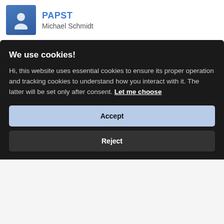PAPST / Michael Schmidt
ESL PRO SERIES SUMMER 2011 \ COUNTER-STRIKE
2011-03-23 20:15:00
[Figure (screenshot): Stats button with bar chart icon]
We use cookies!
Hi, this website uses essential cookies to ensure its proper operation and tracking cookies to understand how you interact with it. The latter will be set only after consent. Let me choose
Accept
Reject